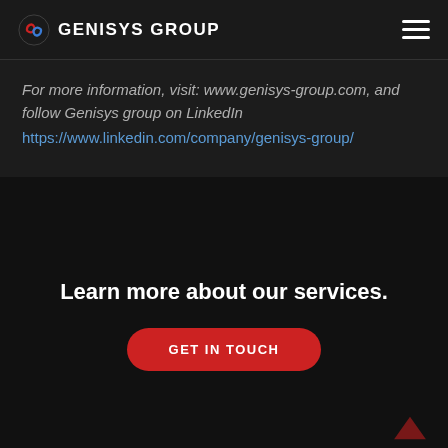GENISYS GROUP
For more information, visit: www.genisys-group.com, and follow Genisys group on LinkedIn https://www.linkedin.com/company/genisys-group/
Learn more about our services.
GET IN TOUCH